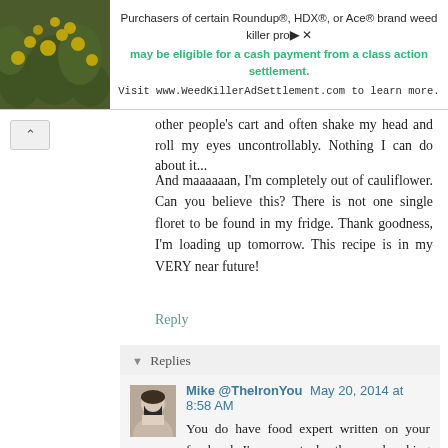[Figure (other): Advertisement banner: photo of yellow flowers on the left, text on the right: 'Purchasers of certain Roundup®, HDX®, or Ace® brand weed killer products may be eligible for a cash payment from a class action settlement. Visit www.WeedKillerAdSettlement.com to learn more.']
other people's cart and often shake my head and roll my eyes uncontrollably. Nothing I can do about it...
And maaaaaan, I'm completely out of cauliflower. Can you believe this? There is not one single floret to be found in my fridge. Thank goodness, I'm loading up tomorrow. This recipe is in my VERY near future!
Reply
▾ Replies
Mike @TheIronYou May 20, 2014 at 8:58 AM
You do have food expert written on your forehead, I'm sorry to be the one breaking the news down to you, but that's how it is. ;)